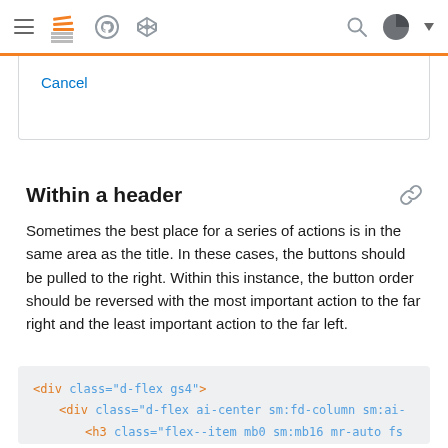Stack Overflow navigation bar with hamburger menu, logo, GitHub, CodePen icons, search and avatar
Cancel
Within a header
Sometimes the best place for a series of actions is in the same area as the title. In these cases, the buttons should be pulled to the right. Within this instance, the button order should be reversed with the most important action to the far right and the least important action to the far left.
<div class="d-flex gs4">
    <div class="d-flex ai-center sm:fd-column sm:ai-
        <h3 class="flex--item mb0 sm:mb16 mr-auto fs

        <div class="d-flex gs4 sm:fd-row-reverse sm:
            <button class="flex--item s-btn" type="b